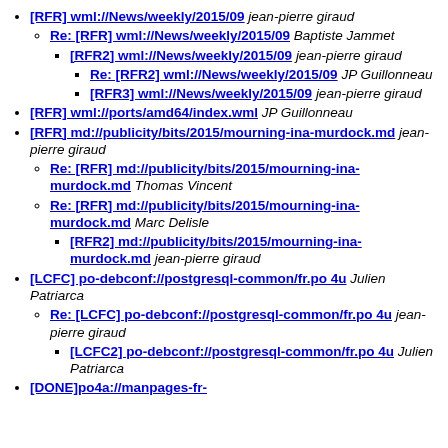[RFR] wml://News/weekly/2015/09 jean-pierre giraud
Re: [RFR] wml://News/weekly/2015/09 Baptiste Jammet
[RFR2] wml://News/weekly/2015/09 jean-pierre giraud
Re: [RFR2] wml://News/weekly/2015/09 JP Guillonneau
[RFR3] wml://News/weekly/2015/09 jean-pierre giraud
[RFR] wml://ports/amd64/index.wml JP Guillonneau
[RFR] md://publicity/bits/2015/mourning-ina-murdock.md jean-pierre giraud
Re: [RFR] md://publicity/bits/2015/mourning-ina-murdock.md Thomas Vincent
Re: [RFR] md://publicity/bits/2015/mourning-ina-murdock.md Marc Delisle
[RFR2] md://publicity/bits/2015/mourning-ina-murdock.md jean-pierre giraud
[LCFC] po-debconf://postgresql-common/fr.po 4u Julien Patriarca
Re: [LCFC] po-debconf://postgresql-common/fr.po 4u jean-pierre giraud
[LCFC2] po-debconf://postgresql-common/fr.po 4u Julien Patriarca
[DONE]po4a://manpages-fr-